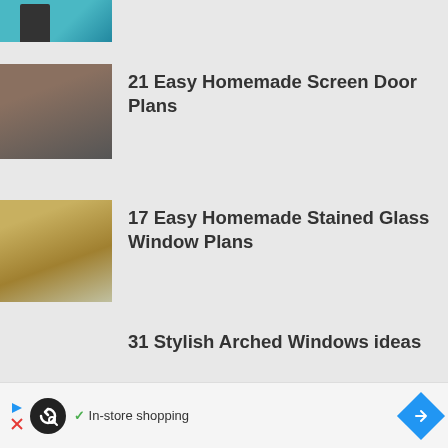[Figure (photo): Partial image of a person near a teal/turquoise door, cropped at top of page]
[Figure (photo): Hands working on a screen door, installing or stapling screen material]
21 Easy Homemade Screen Door Plans
[Figure (photo): Interior entryway with yellow front door with stained glass panels, wood floor, white wainscoting, and plants]
17 Easy Homemade Stained Glass Window Plans
31 Stylish Arched Windows ideas
[Figure (other): Advertisement banner with Bing logo, play/close buttons, checkmark icon, In-store shopping text, and navigation arrow icon]